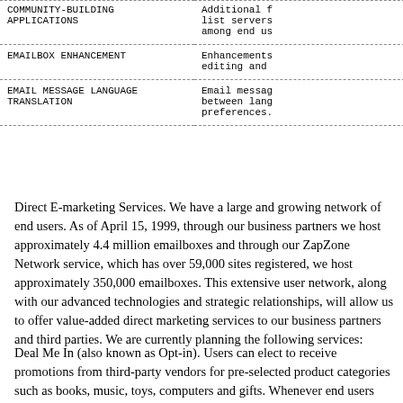| Feature | Description |
| --- | --- |
| COMMUNITY-BUILDING APPLICATIONS | Additional f list servers among end us |
| EMAILBOX ENHANCEMENT | Enhancements editing and |
| EMAIL MESSAGE LANGUAGE TRANSLATION | Email messag between lang preferences. |
Direct E-marketing Services. We have a large and growing network of end users. As of April 15, 1999, through our business partners we host approximately 4.4 million emailboxes and through our ZapZone Network service, which has over 59,000 sites registered, we host approximately 350,000 emailboxes. This extensive user network, along with our advanced technologies and strategic relationships, will allow us to offer value-added direct marketing services to our business partners and third parties. We are currently planning the following services:
Deal Me In (also known as Opt-in). Users can elect to receive promotions from third-party vendors for pre-selected product categories such as books, music, toys, computers and gifts. Whenever end users choose to purchase one of these items, our